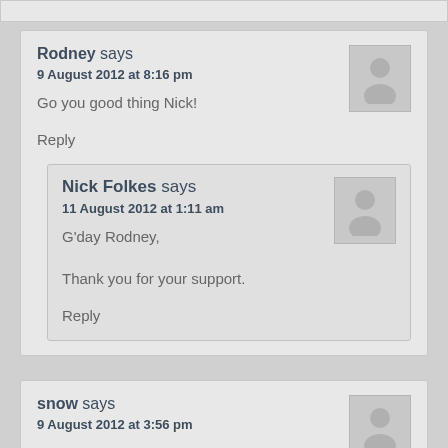Rodney says
9 August 2012 at 8:16 pm
Go you good thing Nick!
Reply
Nick Folkes says
11 August 2012 at 1:11 am
G'day Rodney,

Thank you for your support.
Reply
snow says
9 August 2012 at 3:56 pm